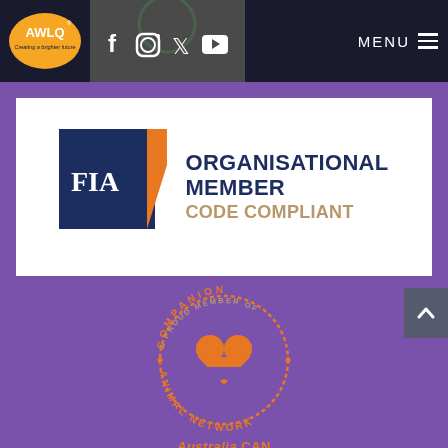[Figure (logo): AWLQ logo - orange oval with AWLQ text and tagline 'Creating a brighter future']
[Figure (logo): Social media icons: Facebook, Instagram, Twitter, YouTube on dark grey background]
MENU
[Figure (logo): FIA Organisational Member Code Compliant logo - dark blue square with orange stripe and FIA text, beside text ORGANISATIONAL MEMBER CODE COMPLIANT]
[Figure (logo): Companion Animal Network - Australia CAN badge. Circular orange badge with text 'A PROUD MEMBER OF COMPANION ANIMAL NETWORK' and Australia CAN text below, orange heart symbol in centre.]